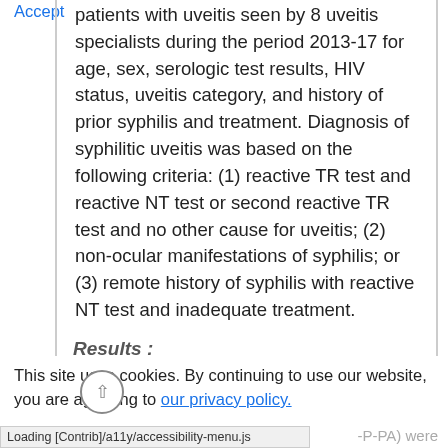patients with uveitis seen by 8 uveitis specialists during the period 2013-17 for age, sex, serologic test results, HIV status, uveitis category, and history of prior syphilis and treatment. Diagnosis of syphilitic uveitis was based on the following criteria: (1) reactive TR test and reactive NT test or second reactive TR test and no other cause for uveitis; (2) non-ocular manifestations of syphilis; or (3) remote history of syphilis with reactive NT test and inadequate treatment.
Results :
This site uses cookies. By continuing to use our website, you are agreeing to our privacy policy.
Accept
Loading [Contrib]/a11y/accessibility-menu.js
-PA) were